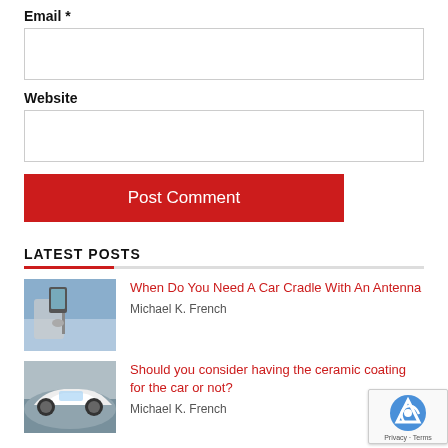Email *
[Figure (other): Empty email input text field with border]
Website
[Figure (other): Empty website input text field with border]
Post Comment
LATEST POSTS
[Figure (photo): Thumbnail image of a car phone cradle/mount on a car dashboard]
When Do You Need A Car Cradle With An Antenna
Michael K. French
[Figure (photo): Thumbnail image of a white sports car in motion]
Should you consider having the ceramic coating for the car or not?
Michael K. French